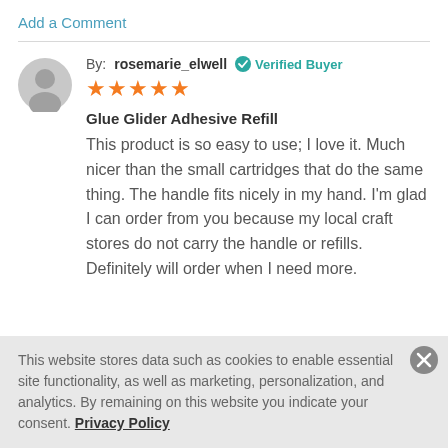Add a Comment
By: rosemarie_elwell  Verified Buyer
★★★★★
Glue Glider Adhesive Refill
This product is so easy to use; I love it. Much nicer than the small cartridges that do the same thing. The handle fits nicely in my hand. I'm glad I can order from you because my local craft stores do not carry the handle or refills. Definitely will order when I need more.
This website stores data such as cookies to enable essential site functionality, as well as marketing, personalization, and analytics. By remaining on this website you indicate your consent. Privacy Policy